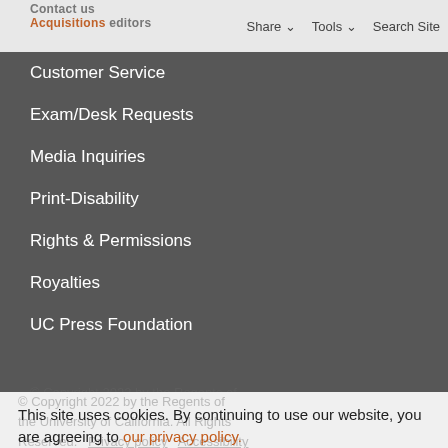Share  Tools  Search Site
Customer Service
Exam/Desk Requests
Media Inquiries
Print-Disability
Rights & Permissions
Royalties
UC Press Foundation
This site uses cookies. By continuing to use our website, you are agreeing to our privacy policy.
Accept
© Copyright 2022 by the Regents of the University of California. All Rights Reserved.  Privacy policy  Accessibility